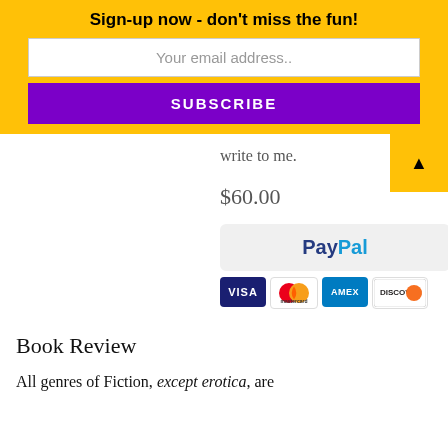Sign-up now - don't miss the fun!
Your email address..
SUBSCRIBE
write to me.
$60.00
[Figure (logo): PayPal payment button with Visa, Mastercard, Amex, and Discover card logos]
Book Review
All genres of Fiction, except erotica, are